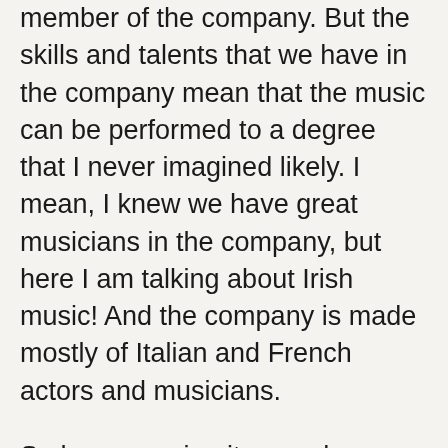member of the company. But the skills and talents that we have in the company mean that the music can be performed to a degree that I never imagined likely. I mean, I knew we have great musicians in the company, but here I am talking about Irish music! And the company is made mostly of Italian and French actors and musicians.

So how amazing it was when over recent rehearsal days the troupe began playing and incorporating into the play the famous Irish piece of music dating back to the 1930s – and one of the most popular pieces of the